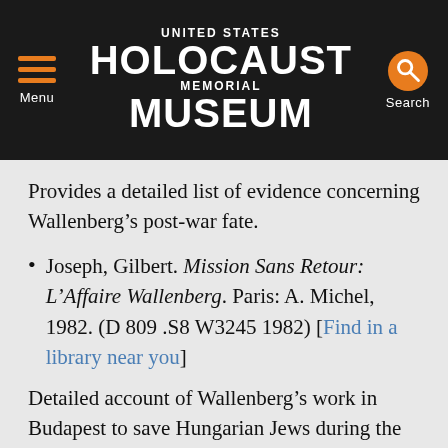United States Holocaust Memorial Museum
Provides a detailed list of evidence concerning Wallenberg’s post-war fate.
Joseph, Gilbert. Mission Sans Retour: L’Affaire Wallenberg. Paris: A. Michel, 1982. (D 809 .S8 W3245 1982) [Find in a library near you]
Detailed account of Wallenberg’s work in Budapest to save Hungarian Jews during the war. Includes reproductions of original documents and letters, a bibliography, and an